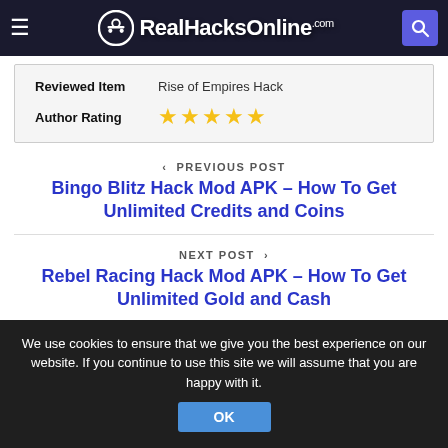RealHacksOnline.com
| Label | Value |
| --- | --- |
| Reviewed Item | Rise of Empires Hack |
| Author Rating | ★★★★★ |
< PREVIOUS POST
Bingo Blitz Hack Mod APK – How To Get Unlimited Credits and Coins
NEXT POST >
Rebel Racing Hack Mod APK – How To Get Unlimited Gold and Cash
We use cookies to ensure that we give you the best experience on our website. If you continue to use this site we will assume that you are happy with it.